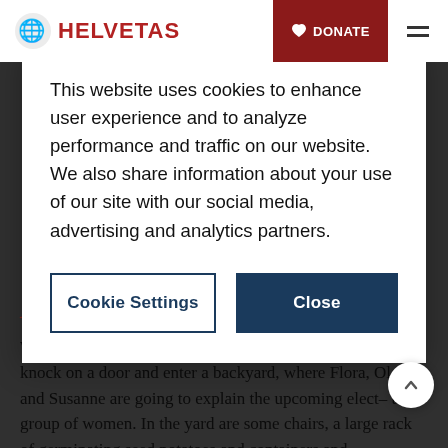HELVETAS | DONATE
This website uses cookies to enhance user experience and to analyze performance and traffic on our website. We also share information about your use of our site with our social media, advertising and analytics partners.
Cookie Settings | Close
Backyard civics training
We walk past the church and into one of the little lanes, knock on a door and enter a backyard, where Flora, Ol- and Susanne are going to explain the upcoming elect- to a group of women. In the yard are some chairs, a large rack of germinating seed potatoes and containers and